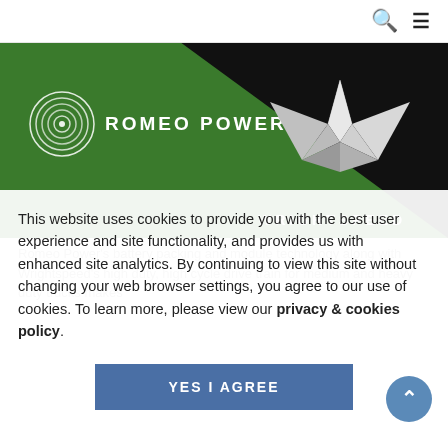[Figure (screenshot): Romeo Power and Wrightspeed co-branded hero banner. Left side is dark green with Romeo Power logo (concentric circles icon) and text 'ROMEO POWER'. Right side is black with a metallic star/arrow logo and 'WRIGHTSPEED' text.]
This website uses cookies to provide you with the best user experience and site functionality, and provides us with enhanced site analytics. By continuing to view this site without changing your web browser settings, you agree to our use of cookies. To learn more, please view our privacy & cookies policy.
YES I AGREE